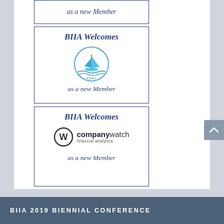[Figure (other): Partial card showing 'as a new Member' text in italic dark blue on white with dark blue border]
[Figure (logo): BIIA Welcomes card with TORY sailing logo (circle with sailboat) and 'as a new Member' text]
[Figure (logo): BIIA Welcomes card with Companywatch financial analytics logo and 'as a new Member' text]
BIIA 2019 BIENNIAL CONFERENCE